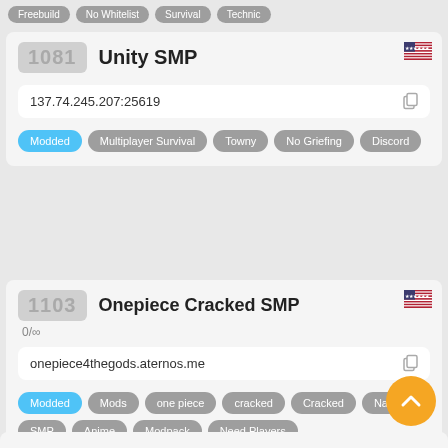Freebuild | No Whitelist | Survival | Technic
1081 Unity SMP
137.74.245.207:25619
Modded | Multiplayer Survival | Towny | No Griefing | Discord
1103 Onepiece Cracked SMP
0/∞
onepiece4thegods.aternos.me
Modded | Mods | one piece | cracked | Cracked | Naruto | SMP | Anime | Modpack | Need Players